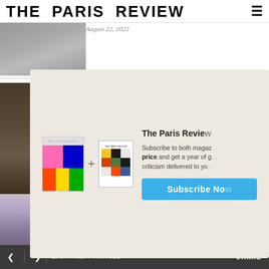THE PARIS REVIEW
August 22, 2022
[Figure (photo): Article thumbnail image, landscape photo]
[Figure (photo): Article thumbnail photo with people]
Barefoot Astroturf Situation:
[Figure (infographic): Subscription modal with New York Review and The Paris Review magazine covers, plus sign, and Subscribe Now button]
[Figure (photo): Article thumbnail photo with figure outdoors]
August 16, 2022
LAST / NEXT ARTICLE   SHARE